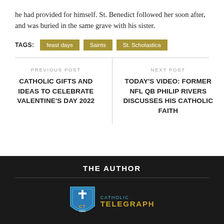he had provided for himself. St. Benedict followed her soon after, and was buried in the same grave with his sister.
TAGS: feast days | Saints | St. Scholastica
PREVIOUS POST
CATHOLIC GIFTS AND IDEAS TO CELEBRATE VALENTINE'S DAY 2022
NEXT POST
TODAY'S VIDEO: FORMER NFL QB PHILIP RIVERS DISCUSSES HIS CATHOLIC FAITH
THE AUTHOR
[Figure (logo): The Catholic Telegraph logo — shield icon with cross and letters CT, beside text CATHOLIC TELEGRAPH in blue and gold]